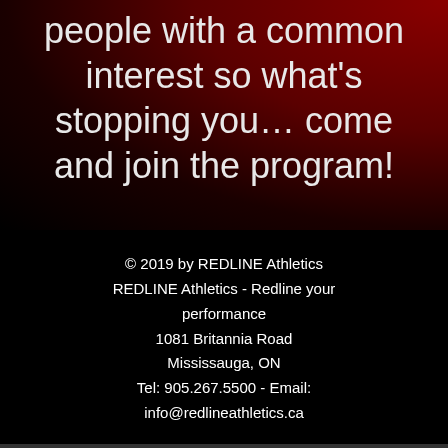people with a common interest so what's stopping you… come and join the program!
© 2019 by REDLINE Athletics
REDLINE Athletics - Redline your performance
1081 Britannia Road
Mississauga, ON
Tel: 905.267.5500 - Email:
info@redlineathletics.ca